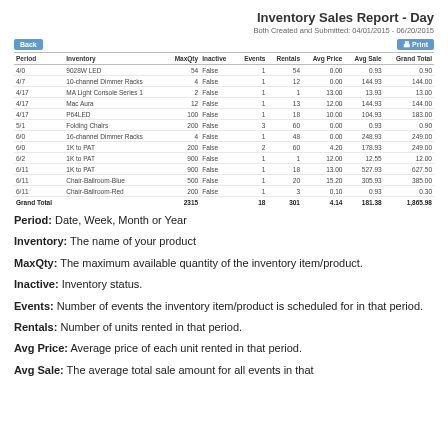Inventory Sales Report - Day
Both Created and Submitted: 04/01/2015 - 06/20/2015
| Period | Inventory | MaxQty | Inactive | Events | Rentals | Avg Price | Avg Sale | Grand Total |
| --- | --- | --- | --- | --- | --- | --- | --- | --- |
| 4/0 | 9028W LED | 54 | False | 1 | 54 | 0.00 | 0.93 | 0.90 |
| 4/7 | 10-channel Dimmer Racks | 4 | False | 1 | 12 | 0.00 | 144.93 | 144.00 |
| 4/17 | MA Light Console Series 1 | 2 | False | 1 | 1 | 13.00 | 13.93 | 13.00 |
| 4/17 | Mac Aura | 12 | False | 1 | 13 | 12.00 | 144.93 | 144.00 |
| 4/17 | P64LED | 100 | False | 1 | 18 | 10.00 | 104.93 | 183.00 |
| 5/1 | Folding Chairs | 200 | False | 3 | 60 | 0.00 | 0.93 | 0.90 |
| 6/0 | 16-channel Dimmer Racks | 4 | False | 1 | 48 | 0.00 | 248.93 | 249.00 |
| 6/0 | 1K to PAT | 200 | False | 2 | 60 | 4.20 | 178.93 | 249.00 |
| 6/2 | 1K to PAT | 900 | False | 1 | 1 | 12.00 | 12.55 | 12.00 |
| 6/11 | 1K to PAT | 900 | False | 1 | 18 | 13.00 | 527.93 | 627.50 |
| 6/11 | Chair-Ballroom-Blue | 500 | False | 1 | 20 | 15.20 | 305.93 | 385.00 |
| 6/11 | Chair-Ballroom-Red | 200 | False | 1 | 3 | 0.10 | 0.93 | 0.30 |
| Grand Total |  | 2315 |  | 18 | 301 | 4.14 | 181.38 | 1,865.98 |
Period:  Date, Week, Month or Year
Inventory:  The name of your product
MaxQty: The maximum available quantity of the inventory item/product.
Inactive: Inventory status.
Events:  Number of events the inventory item/product is scheduled for in that period.
Rentals:  Number of units rented in that period.
Avg Price:  Average price of each unit rented in that period.
Avg Sale:  The average total sale amount for all events in that